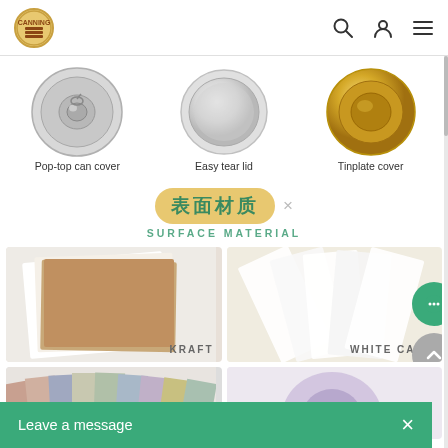Navigation header with logo, search, user, and menu icons
[Figure (photo): Three can covers shown from top: Pop-top can cover (silver), Easy tear lid (silver/white), Tinplate cover (gold)]
Pop-top can cover
Easy tear lid
Tinplate cover
表面材质 × SURFACE MATERIAL
[Figure (photo): Kraft paper sheets stacked, label KRAFT]
[Figure (photo): White card paper strips fanned out, label WHITE CARD]
[Figure (photo): Colorful paper sheets in various colors, partially visible]
[Figure (photo): Fourth material card, partially visible]
Leave a message